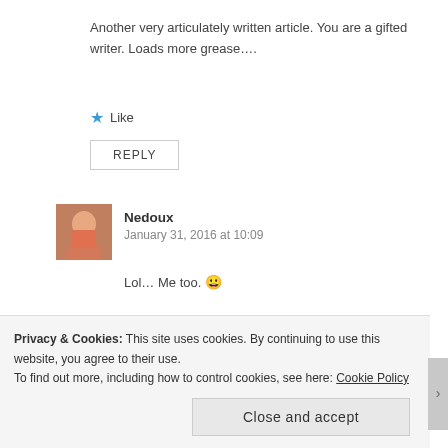Another very articulately written article. You are a gifted writer. Loads more grease….
Like
REPLY
Nedoux
January 31, 2016 at 10:09
Lol… Me too. 😀
lieomee, thank you so much for always supporting
Privacy & Cookies: This site uses cookies. By continuing to use this website, you agree to their use.
To find out more, including how to control cookies, see here: Cookie Policy
Close and accept